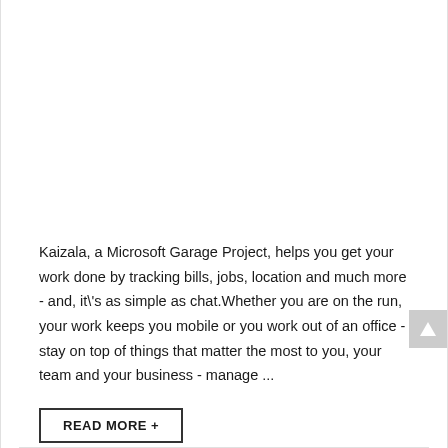Kaizala, a Microsoft Garage Project, helps you get your work done by tracking bills, jobs, location and much more - and, it\'s as simple as chat.Whether you are on the run, your work keeps you mobile or you work out of an office - stay on top of things that matter the most to you, your team and your business - manage ...
READ MORE +